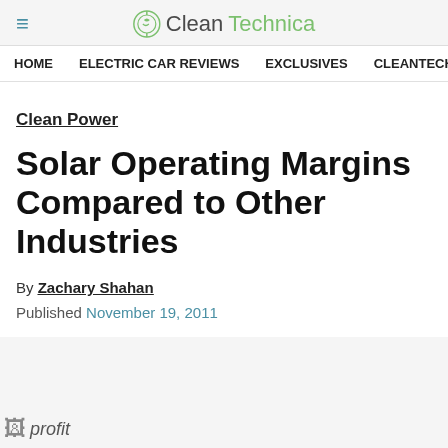≡  CleanTechnica
HOME   ELECTRIC CAR REVIEWS   EXCLUSIVES   CLEANTECHN
Clean Power
Solar Operating Margins Compared to Other Industries
By Zachary Shahan
Published November 19, 2011
[Figure (photo): profit image placeholder (broken image icon with alt text 'profit')]